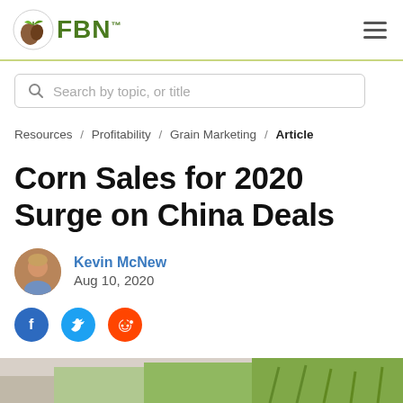FBN
Search by topic, or title
Resources / Profitability / Grain Marketing / Article
Corn Sales for 2020 Surge on China Deals
Kevin McNew
Aug 10, 2020
[Figure (photo): Cropped bottom strip showing corn field background image]